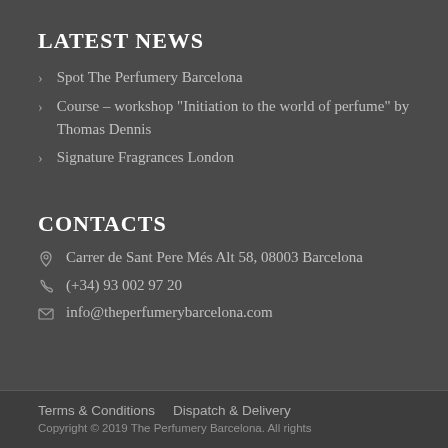LATEST NEWS
Spot The Perfumery Barcelona
Course – workshop "Initiation to the world of perfume" by Thomas Dennis
Signature Fragrances London
CONTACTS
Carrer de Sant Pere Més Alt 58, 08003 Barcelona
(+34) 93 002 97 20
info@theperfumerybarcelona.com
Terms & Conditions   Dispatch & Delivery
Copyright © 2019 The Perfumery Barcelona. All rights